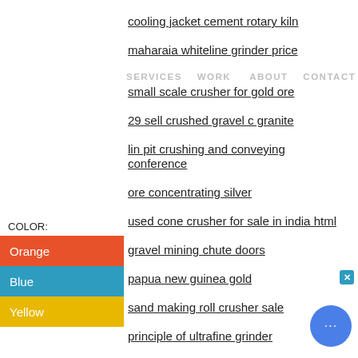cooling jacket cement rotary kiln
maharaia whiteline grinder price
SERVICES   WORK   ABOUT   CONTACT
small scale crusher for gold ore
29 sell crushed gravel c granite
lin pit crushing and conveying conference
ore concentrating silver
used cone crusher for sale in india html
gravel mining chute doors
papua new guinea gold
sand making roll crusher sale
principle of ultrafine grinder